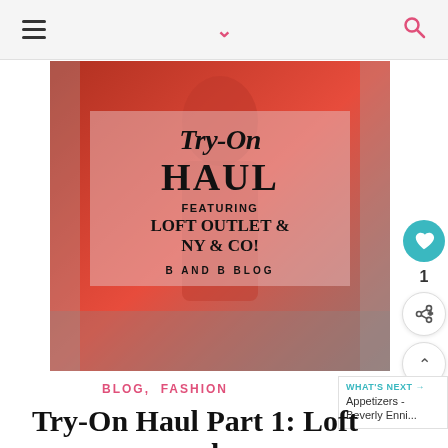Navigation bar with hamburger menu, chevron, and search icon
[Figure (photo): Woman in a red/coral coat taking a mirror selfie in a fitting room. Overlay text on a translucent pink box reads: Try-On HAUL FEATURING LOFT OUTLET & NY & CO! B AND B BLOG]
BLOG, FASHION
Try-On Haul Part 1: Loft and